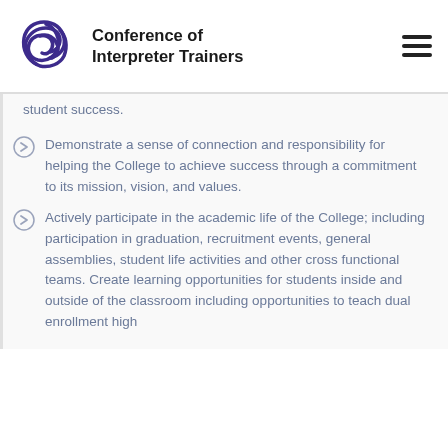Conference of Interpreter Trainers
student success.
Demonstrate a sense of connection and responsibility for helping the College to achieve success through a commitment to its mission, vision, and values.
Actively participate in the academic life of the College; including participation in graduation, recruitment events, general assemblies, student life activities and other cross functional teams. Create learning opportunities for students inside and outside of the classroom including opportunities to teach dual enrollment high